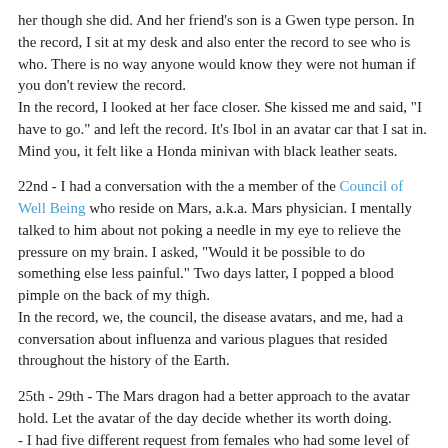her though she did. And her friend's son is a Gwen type person. In the record, I sit at my desk and also enter the record to see who is who. There is no way anyone would know they were not human if you don't review the record.
In the record, I looked at her face closer. She kissed me and said, "I have to go." and left the record. It's Ibol in an avatar car that I sat in. Mind you, it felt like a Honda minivan with black leather seats.
22nd - I had a conversation with the a member of the Council of Well Being who reside on Mars, a.k.a. Mars physician. I mentally talked to him about not poking a needle in my eye to relieve the pressure on my brain. I asked, "Would it be possible to do something else less painful." Two days latter, I popped a blood pimple on the back of my thigh.
In the record, we, the council, the disease avatars, and me, had a conversation about influenza and various plagues that resided throughout the history of the Earth.
25th - 29th - The Mars dragon had a better approach to the avatar hold. Let the avatar of the day decide whether its worth doing.
- I had five different request from females who had some level of schism on them. I will look at them next month.